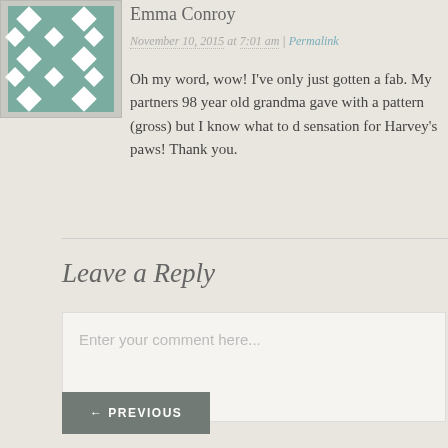[Figure (illustration): Avatar image with teal/green geometric quilt-like pattern on grey background]
Emma Conroy
November 10, 2015 at 7:01 am | Permalink
Oh my word, wow! I've only just gotten a fab. My partners 98 year old grandma gave with a pattern (gross) but I know what to d sensation for Harvey's paws! Thank you.
Leave a Reply
Enter your comment here...
← PREVIOUS